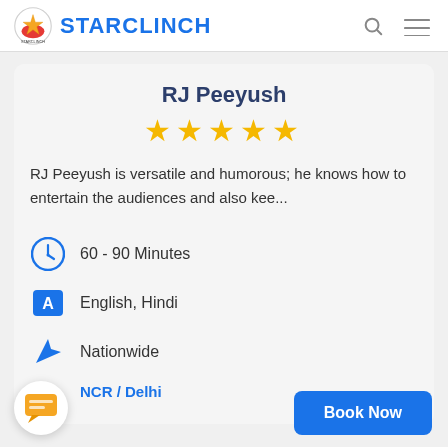STARCLINCH
RJ Peeyush
[Figure (infographic): Five gold star rating icons]
RJ Peeyush is versatile and humorous; he knows how to entertain the audiences and also kee...
60 - 90 Minutes
English, Hindi
Nationwide
NCR / Delhi
Book Now